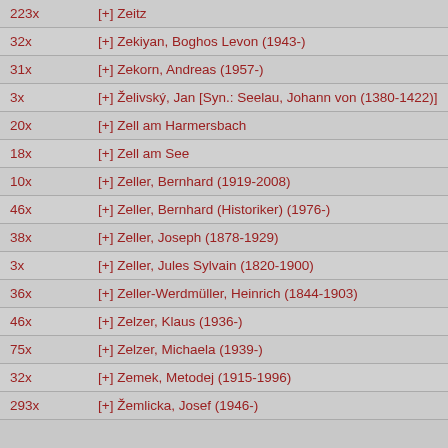223x  [+] Zeitz
32x  [+] Zekiyan, Boghos Levon (1943-)
31x  [+] Zekorn, Andreas (1957-)
3x  [+] Želivský, Jan [Syn.: Seelau, Johann von (1380-1422)]
20x  [+] Zell am Harmersbach
18x  [+] Zell am See
10x  [+] Zeller, Bernhard (1919-2008)
46x  [+] Zeller, Bernhard (Historiker) (1976-)
38x  [+] Zeller, Joseph (1878-1929)
3x  [+] Zeller, Jules Sylvain (1820-1900)
36x  [+] Zeller-Werdmüller, Heinrich (1844-1903)
46x  [+] Zelzer, Klaus (1936-)
75x  [+] Zelzer, Michaela (1939-)
32x  [+] Zemek, Metodej (1915-1996)
293x  [+] Žemlicka, Josef (1946-)